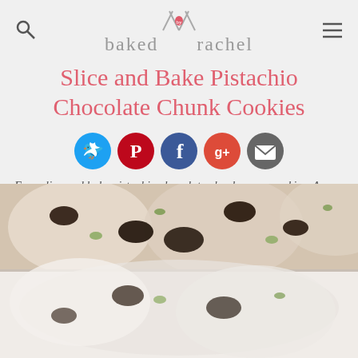baked by rachel
Slice and Bake Pistachio Chocolate Chunk Cookies
[Figure (infographic): Social media share buttons: Twitter (blue), Pinterest (red), Facebook (dark blue), Google+ (orange-red), Email (grey)]
Easy slice and bake pistachio chocolate chunk sugar cookies. A perfect sweet and salty treat to make for the holidays or any time of the year!
[Figure (photo): Close-up photo of pistachio chocolate chunk cookies showing white cookie dough with dark chocolate chunks and green pistachio pieces]